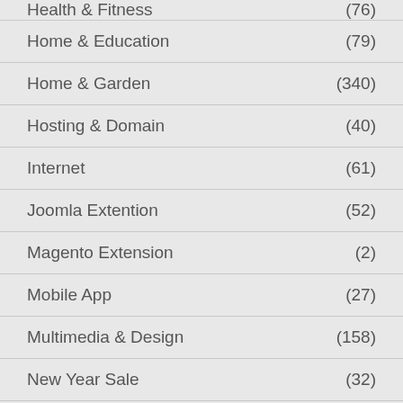Health & Fitness (76)
Home & Education (79)
Home & Garden (340)
Hosting & Domain (40)
Internet (61)
Joomla Extention (52)
Magento Extension (2)
Mobile App (27)
Multimedia & Design (158)
New Year Sale (32)
Office Tools (1)